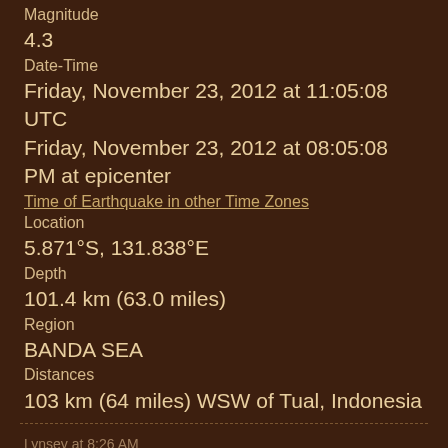Magnitude
4.3
Date-Time
Friday, November 23, 2012 at 11:05:08 UTC
Friday, November 23, 2012 at 08:05:08 PM at epicenter
Time of Earthquake in other Time Zones
Location
5.871°S, 131.838°E
Depth
101.4 km (63.0 miles)
Region
BANDA SEA
Distances
103 km (64 miles) WSW of Tual, Indonesia
Lynsey at 8:26 AM
Share
'End has come, stop the suffering from Brussels mandarins'